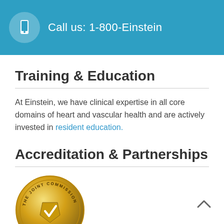[Figure (infographic): Teal/blue banner with white phone icon in circle and text 'Call us: 1-800-Einstein']
Training & Education
At Einstein, we have clinical expertise in all core domains of heart and vascular health and are actively invested in resident education.
Accreditation & Partnerships
[Figure (logo): The Joint Commission gold seal/medallion logo, partially visible at bottom of page]